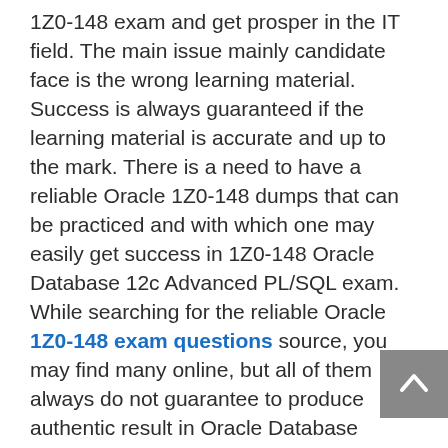1Z0-148 exam and get prosper in the IT field. The main issue mainly candidate face is the wrong learning material. Success is always guaranteed if the learning material is accurate and up to the mark. There is a need to have a reliable Oracle 1Z0-148 dumps that can be practiced and with which one may easily get success in 1Z0-148 Oracle Database 12c Advanced PL/SQL exam. While searching for the reliable Oracle 1Z0-148 exam questions source, you may find many online, but all of them always do not guarantee to produce authentic result in Oracle Database Application Development exam. In such case, you should go for ExamsLand that offers the best Oracle 1Z0-148 practice dumps in no time. They had prepared the 1Z0-148 practice dumps in such a way that helps to ensure one's success in 1Z0-148 Oracle Database 12c Advanced PL/SQL